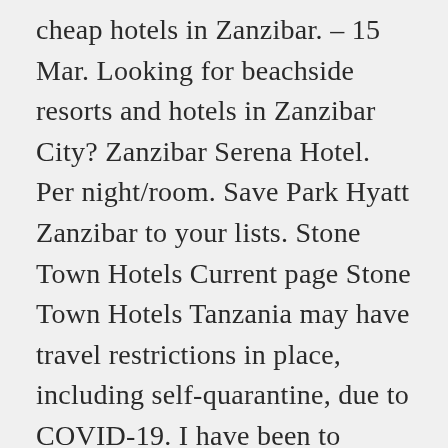cheap hotels in Zanzibar. – 15 Mar. Looking for beachside resorts and hotels in Zanzibar City? Zanzibar Serena Hotel. Per night/room. Save Park Hyatt Zanzibar to your lists. Stone Town Hotels Current page Stone Town Hotels Tanzania may have travel restrictions in place, including self-quarantine, due to COVID-19. I have been to Zanzibar 3 times in total, and I could never miss the opportunity of staying at least 3 full days in Stone Town during each visit. Book a cheap hotel in Zanzibar Town now and unlock secret prices! Check-out. Cheap Hotels in Stone Town, Zanzibar Town. Find cheap deals and discount rates that best fit your budget. Get 1 FREE night for any 10 you book with the Hotels.com™ Rewards